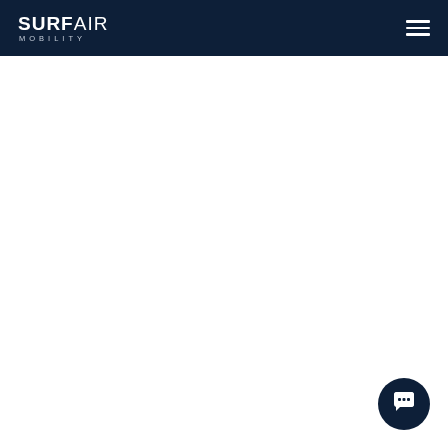SURFAIR MOBILITY
[Figure (logo): Surf Air Mobility logo with chat button widget in bottom right corner]